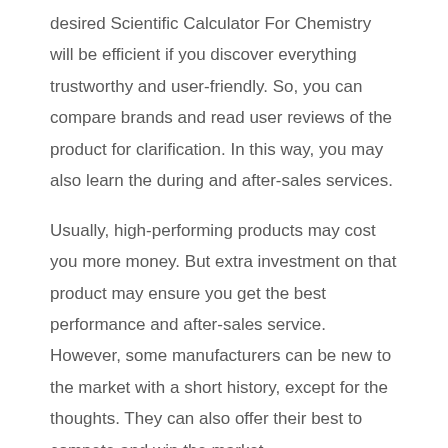desired Scientific Calculator For Chemistry will be efficient if you discover everything trustworthy and user-friendly. So, you can compare brands and read user reviews of the product for clarification. In this way, you may also learn the during and after-sales services.
Usually, high-performing products may cost you more money. But extra investment on that product may ensure you get the best performance and after-sales service. However, some manufacturers can be new to the market with a short history, except for the thoughts. They can also offer their best to compete and win the market.
Practical Features:
This is the next thing to look at when buying the Best Scientific Calculator For Chemistry. Always try to match the features you want with the selected product. Therefore, some products may